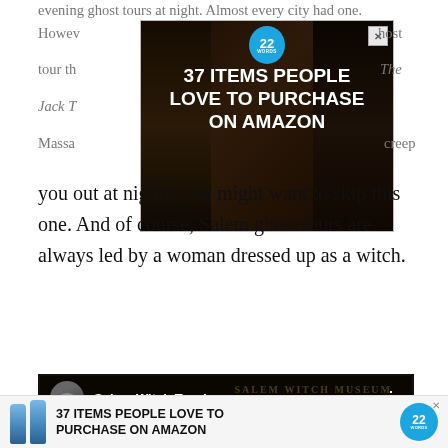evening ghost tours at night. Almost every city had one.
[Figure (screenshot): Advertisement banner: '37 ITEMS PEOPLE LOVE TO PURCHASE ON AMAZON' with dark background showing food items. Has close X button and circular 22 Words badge.]
you out at nights, you might want to skip this one. And of course, Salem ghost tours are always led by a woman dressed up as a witch.
[Figure (screenshot): YouTube video embed showing 'Salem Witch Tour!' video with Salem Witch Museum building in background, person standing in front, SALEM HAUNTED text in red outline, play button, and CLOSE button.]
[Figure (screenshot): Advertisement banner at bottom: '37 ITEMS PEOPLE LOVE TO PURCHASE ON AMAZON' with two blue bottles image and 22 Words badge. Has X close button.]